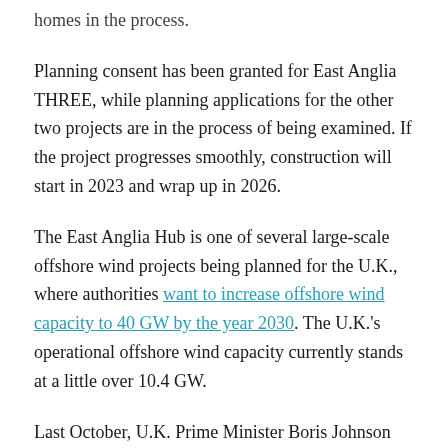homes in the process.
Planning consent has been granted for East Anglia THREE, while planning applications for the other two projects are in the process of being examined. If the project progresses smoothly, construction will start in 2023 and wrap up in 2026.
The East Anglia Hub is one of several large-scale offshore wind projects being planned for the U.K., where authorities want to increase offshore wind capacity to 40 GW by the year 2030. The U.K.'s operational offshore wind capacity currently stands at a little over 10.4 GW.
Last October, U.K. Prime Minister Boris Johnson said he wanted the country to become the “world leader in low cost clean power generation.”